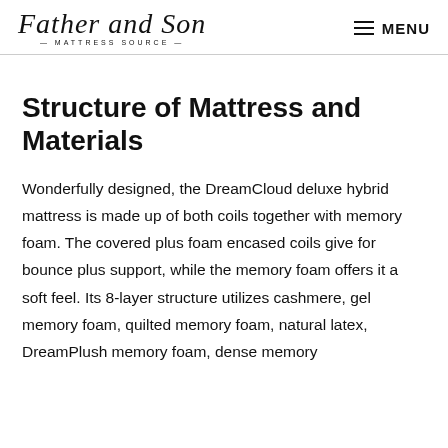Father and Son MATTRESS SOURCE — MENU
Structure of Mattress and Materials
Wonderfully designed, the DreamCloud deluxe hybrid mattress is made up of both coils together with memory foam. The covered plus foam encased coils give for bounce plus support, while the memory foam offers it a soft feel. Its 8-layer structure utilizes cashmere, gel memory foam, quilted memory foam, natural latex, DreamPlush memory foam, dense memory